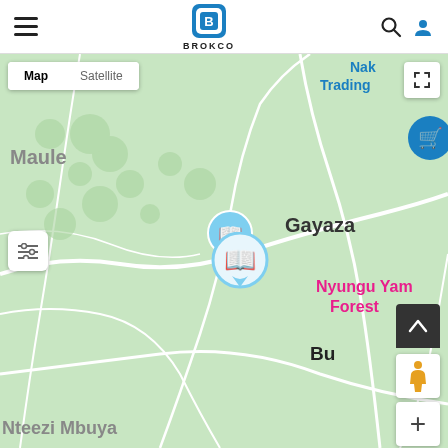[Figure (screenshot): BROKCO app header with hamburger menu, logo, search and user icons]
[Figure (map): Google Maps view showing Gayaza area in Uganda with two book/library map pins, Map/Satellite toggle, place labels: Nakasero Trading, Maule, Gayaza, Nyungu Yamawe Forest, Butt, Nteezi Mbuya. Various map controls visible: fullscreen, filter, up arrow, street view person, and plus button.]